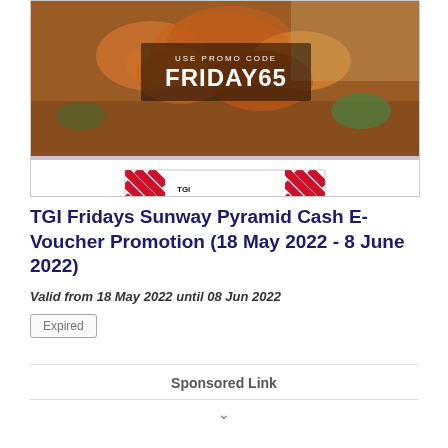[Figure (photo): TGI Fridays promotional banner with food photo showing chicken wings/ribs, a promo code overlay reading 'USE PROMO CODE FRIDAY65', and the TGI Fridays striped red/white logo below.]
TGI Fridays Sunway Pyramid Cash E-Voucher Promotion (18 May 2022 - 8 June 2022)
Valid from 18 May 2022 until 08 Jun 2022
Expired
Sponsored Link